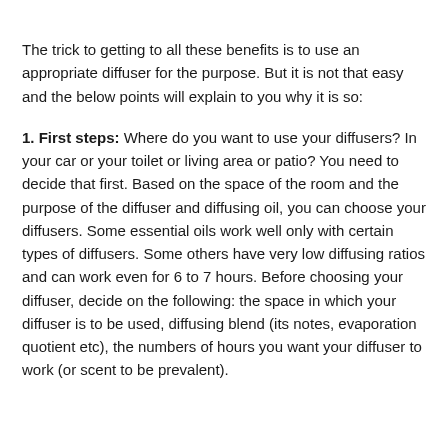The trick to getting to all these benefits is to use an appropriate diffuser for the purpose. But it is not that easy and the below points will explain to you why it is so:
1. First steps: Where do you want to use your diffusers? In your car or your toilet or living area or patio? You need to decide that first. Based on the space of the room and the purpose of the diffuser and diffusing oil, you can choose your diffusers. Some essential oils work well only with certain types of diffusers. Some others have very low diffusing ratios and can work even for 6 to 7 hours. Before choosing your diffuser, decide on the following: the space in which your diffuser is to be used, diffusing blend (its notes, evaporation quotient etc), the numbers of hours you want your diffuser to work (or scent to be prevalent).